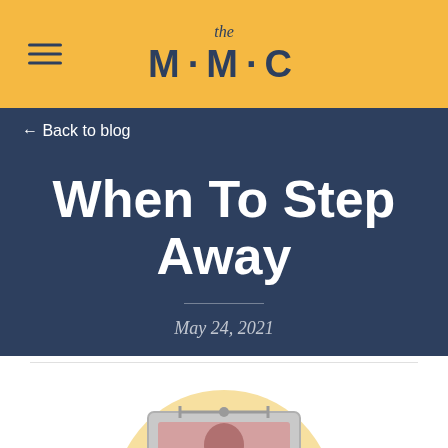the M·M·C
← Back to blog
When To Step Away
May 24, 2021
[Figure (illustration): Partial view of a laptop/computer illustration with a circular yellow background, showing just the top portion of a monitor or laptop screen with a person figure behind it. Muted pinkish-red and gray colors for the screen content.]